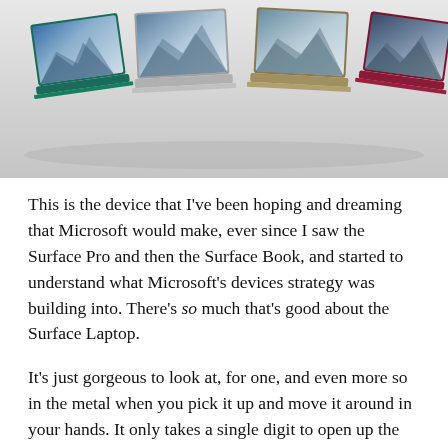[Figure (photo): Four Microsoft Surface Laptop computers shown side by side in different colors (blue, silver, gold, burgundy/red), all open displaying mountain landscape wallpapers, against a light gray background.]
This is the device that I've been hoping and dreaming that Microsoft would make, ever since I saw the Surface Pro and then the Surface Book, and started to understand what Microsoft's devices strategy was building into. There's so much that's good about the Surface Laptop.
It's just gorgeous to look at, for one, and even more so in the metal when you pick it up and move it around in your hands. It only takes a single digit to open up the Surface Laptop's lid, a tap on the power button brings it to life from its power-saving deep sleep in mere seconds (on Windows 10 S; 10 Pro takes a little bit longer). The alcantara finish on the wrist rest and the base layer of the laptop is just beautiful.